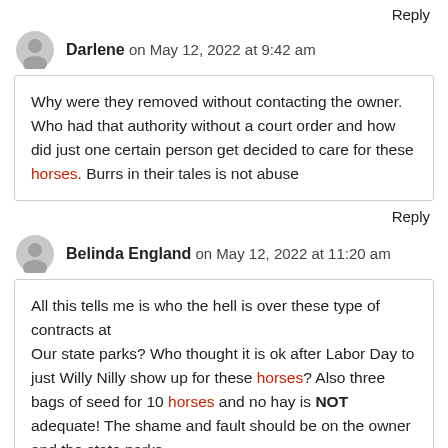Reply
Darlene on May 12, 2022 at 9:42 am
Why were they removed without contacting the owner. Who had that authority without a court order and how did just one certain person get decided to care for these horses. Burrs in their tales is not abuse
Reply
Belinda England on May 12, 2022 at 11:20 am
All this tells me is who the hell is over these type of contracts at
Our state parks? Who thought it is ok after Labor Day to just Willy Nilly show up for these horses? Also three bags of seed for 10 horses and no hay is NOT adequate! The shame and fault should be on the owner and the state parks.